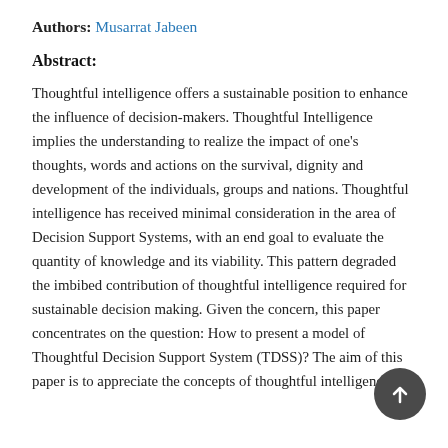Authors: Musarrat Jabeen
Abstract:
Thoughtful intelligence offers a sustainable position to enhance the influence of decision-makers. Thoughtful Intelligence implies the understanding to realize the impact of one's thoughts, words and actions on the survival, dignity and development of the individuals, groups and nations. Thoughtful intelligence has received minimal consideration in the area of Decision Support Systems, with an end goal to evaluate the quantity of knowledge and its viability. This pattern degraded the imbibed contribution of thoughtful intelligence required for sustainable decision making. Given the concern, this paper concentrates on the question: How to present a model of Thoughtful Decision Support System (TDSS)? The aim of this paper is to appreciate the concepts of thoughtful intelligence